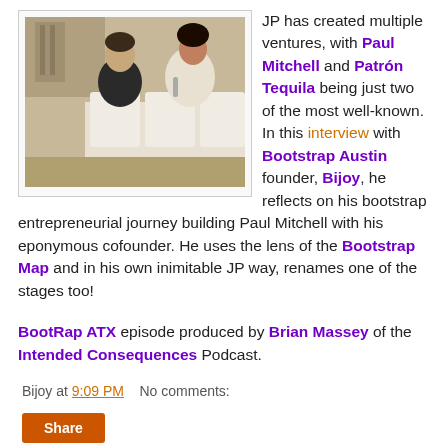[Figure (photo): Two people sitting on a couch having a conversation, one in a black shirt and one in a white shirt, in an indoor setting]
JP has created multiple ventures, with Paul Mitchell and Patrón Tequila being just two of the most well-known. In this interview with Bootstrap Austin founder, Bijoy, he reflects on his bootstrap entrepreneurial journey building Paul Mitchell with his eponymous cofounder. He uses the lens of the Bootstrap Map and in his own inimitable JP way, renames one of the stages too!
BootRap ATX episode produced by Brian Massey of the Intended Consequences Podcast.
Bijoy at 9:09 PM    No comments:
Share